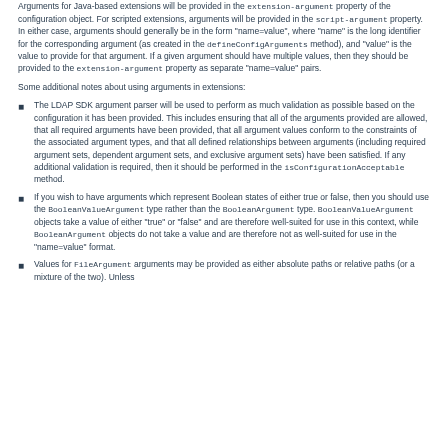Arguments for Java-based extensions will be provided in the extension-argument property of the configuration object. For scripted extensions, arguments will be provided in the script-argument property. In either case, arguments should generally be in the form "name=value", where "name" is the long identifier for the corresponding argument (as created in the defineConfigArguments method), and "value" is the value to provide for that argument. If a given argument should have multiple values, then they should be provided to the extension-argument property as separate "name=value" pairs.
Some additional notes about using arguments in extensions:
The LDAP SDK argument parser will be used to perform as much validation as possible based on the configuration it has been provided. This includes ensuring that all of the arguments provided are allowed, that all required arguments have been provided, that all argument values conform to the constraints of the associated argument types, and that all defined relationships between arguments (including required argument sets, dependent argument sets, and exclusive argument sets) have been satisfied. If any additional validation is required, then it should be performed in the isConfigurationAcceptable method.
If you wish to have arguments which represent Boolean states of either true or false, then you should use the BooleanValueArgument type rather than the BooleanArgument type. BooleanValueArgument objects take a value of either "true" or "false" and are therefore well-suited for use in this context, while BooleanArgument objects do not take a value and are therefore not as well-suited for use in the "name=value" format.
Values for FileArgument arguments may be provided as either absolute paths or relative paths (or a mixture of the two). Unless...